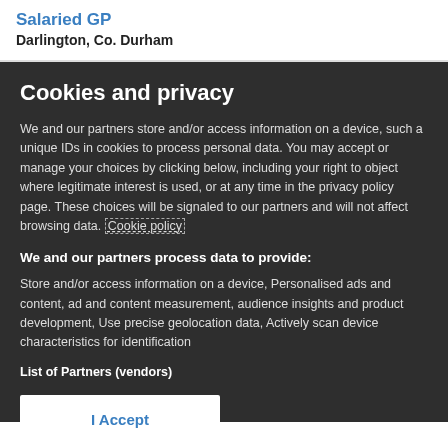Salaried GP
Darlington, Co. Durham
Cookies and privacy
We and our partners store and/or access information on a device, such a unique IDs in cookies to process personal data. You may accept or manage your choices by clicking below, including your right to object where legitimate interest is used, or at any time in the privacy policy page. These choices will be signaled to our partners and will not affect browsing data. Cookie policy
We and our partners process data to provide:
Store and/or access information on a device, Personalised ads and content, ad and content measurement, audience insights and product development, Use precise geolocation data, Actively scan device characteristics for identification
List of Partners (vendors)
I Accept